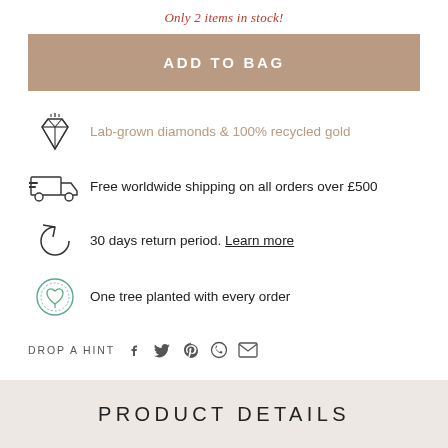Only 2 items in stock!
ADD TO BAG
Lab-grown diamonds & 100% recycled gold
Free worldwide shipping on all orders over £500
30 days return period. Learn more
One tree planted with every order
DROP A HINT
PRODUCT DETAILS